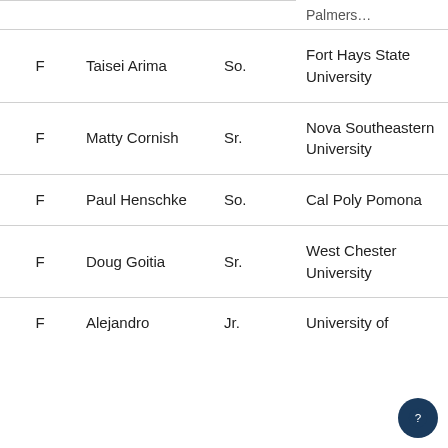| Pos | Name | Year | School | Hometown |
| --- | --- | --- | --- | --- |
| F | Taisei Arima | So. | Fort Hays State University | Machida, J… |
| F | Matty Cornish | Sr. | Nova Southeastern University | Newcastle, England |
| F | Paul Henschke | So. | Cal Poly Pomona | Berlin, Ge… |
| F | Doug Goitia | Sr. | West Chester University | Mount Po…, Pa. |
| F | Alejandro … | Jr. | University of … | Sterlin… |